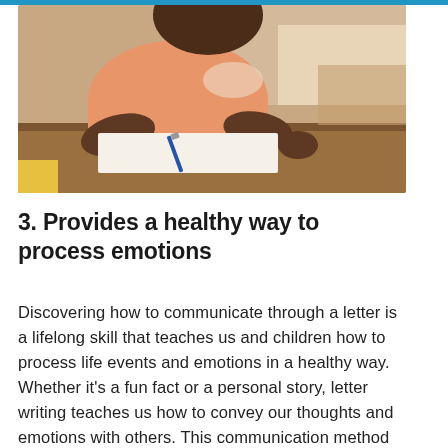[Figure (photo): Close-up photo of a young student wearing a peach/salmon colored top, writing with a pen on paper at a desk.]
3. Provides a healthy way to process emotions
Discovering how to communicate through a letter is a lifelong skill that teaches us and children how to process life events and emotions in a healthy way. Whether it’s a fun fact or a personal story, letter writing teaches us how to convey our thoughts and emotions with others. This communication method allows us to articulate our thoughts, make sense of our lives and help others understand